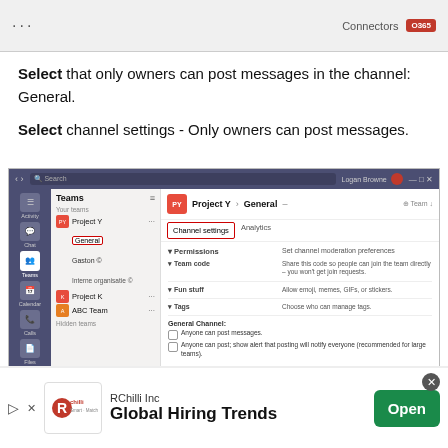[Figure (screenshot): Top portion of a Microsoft Teams interface showing Connectors menu item with Office 365 badge]
Select that only owners can post messages in the channel: General.
Select channel settings - Only owners can post messages.
[Figure (screenshot): Microsoft Teams channel settings screenshot showing Project Y > General channel with Channel settings tab selected, showing Permissions, Team code, Fun stuff, Tags sections, and General Channel posting options]
[Figure (screenshot): Advertisement banner for RChilli Inc - Global Hiring Trends with Open button]